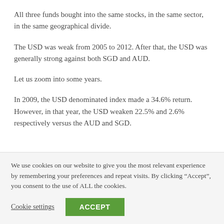All three funds bought into the same stocks, in the same sector, in the same geographical divide.
The USD was weak from 2005 to 2012. After that, the USD was generally strong against both SGD and AUD.
Let us zoom into some years.
In 2009, the USD denominated index made a 34.6% return. However, in that year, the USD weaken 22.5% and 2.6% respectively versus the AUD and SGD.
We use cookies on our website to give you the most relevant experience by remembering your preferences and repeat visits. By clicking “Accept”, you consent to the use of ALL the cookies.
Cookie settings   ACCEPT